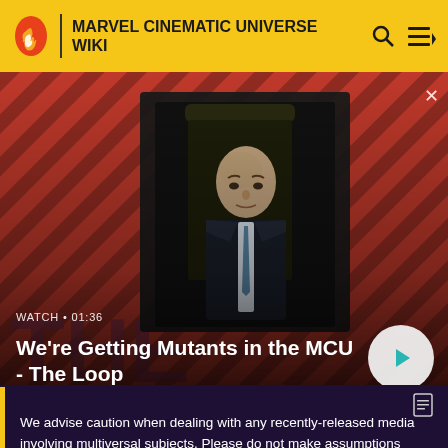MARVEL CINEMATIC UNIVERSE WIKI
[Figure (screenshot): Video thumbnail showing a bald man in a suit seated in a chair, with a striped red-orange diagonal pattern background. Video title 'We're Getting Mutants in the MCU - The Loop', duration 01:36, with a play button overlay.]
abilities when she wielded the pieces of Mjølnir.
We advise caution when dealing with any recently-released media involving multiversal subjects. Please do not make assumptions regarding confusing wording, other sites' speculation, and people's headcanon around the internet.